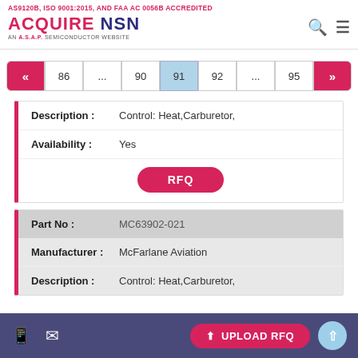AS9120B, ISO 9001:2015, AND FAA AC 0056B ACCREDITED — ACQUIRE NSN — AN ASAP SEMICONDUCTOR WEBSITE
« 86 ... 90 91 92 ... 95 »
| Field | Value |
| --- | --- |
| Description : | Control: Heat,Carburetor, |
| Availability : | Yes |
|  | RFQ |
| Field | Value |
| --- | --- |
| Part No : | MC63902-021 |
| Manufacturer : | McFarlane Aviation |
| Description : | Control: Heat,Carburetor, |
UPLOAD RFQ